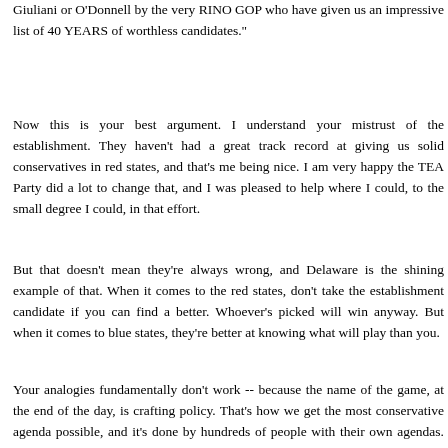Giuliani or O'Donnell by the very RINO GOP who have given us an impressive list of 40 YEARS of worthless candidates."
Now this is your best argument. I understand your mistrust of the establishment. They haven't had a great track record at giving us solid conservatives in red states, and that's me being nice. I am very happy the TEA Party did a lot to change that, and I was pleased to help where I could, to the small degree I could, in that effort.
But that doesn't mean they're always wrong, and Delaware is the shining example of that. When it comes to the red states, don't take the establishment candidate if you can find a better. Whoever's picked will win anyway. But when it comes to blue states, they're better at knowing what will play than you.
Your analogies fundamentally don't work -- because the name of the game, at the end of the day, is crafting policy. That's how we get the most conservative agenda possible, and it's done by hundreds of people with their own agendas. Requiring the same perfection from it as you